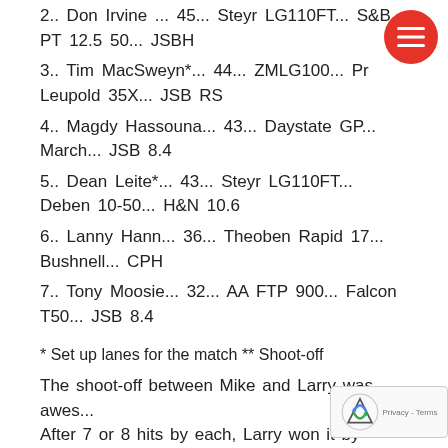2.. Don Irvine ... 45... Steyr LG110FT... S&B PT 12.5 50... JSBH
3.. Tim MacSweyn*... 44... ZMLG100... Pr Leupold 35X... JSB RS
4.. Magdy Hassouna... 43... Daystate GP... March... JSB 8.4
5.. Dean Leite*... 43... Steyr LG110FT... Deben 10-50... H&N 10.6
6.. Lanny Hann... 36... Theoben Rapid 17... Bushnell... CPH
7.. Tony Moosie... 32... AA FTP 900... Falcon T50... JSB 8.4
* Set up lanes for the match ** Shoot-off
The shoot-off between Mike and Larry was awes... After 7 or 8 hits by each, Larry won it by knocking